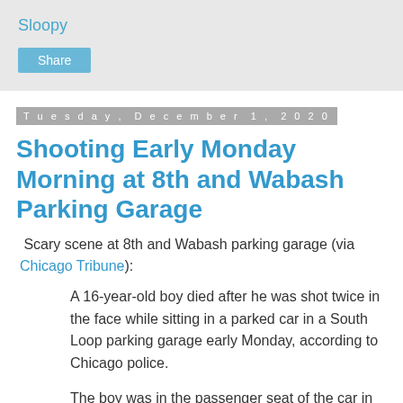Sloopy
Share
Tuesday, December 1, 2020
Shooting Early Monday Morning at 8th and Wabash Parking Garage
Scary scene at 8th and Wabash parking garage (via Chicago Tribune):
A 16-year-old boy died after he was shot twice in the face while sitting in a parked car in a South Loop parking garage early Monday, according to Chicago police.
The boy was in the passenger seat of the car in the 800 block of South Wabash Avenue when two people wearing black ski masks got out of a black car and fired at the boy, the driver of the car told